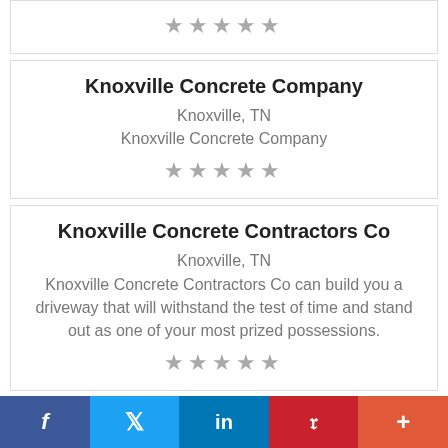[Figure (other): Five grey stars rating for partial top card]
Knoxville Concrete Company
Knoxville, TN
Knoxville Concrete Company
[Figure (other): Five grey stars rating for Knoxville Concrete Company]
Knoxville Concrete Contractors Co
Knoxville, TN
Knoxville Concrete Contractors Co can build you a driveway that will withstand the test of time and stand out as one of your most prized possessions.
[Figure (other): Five grey stars rating for Knoxville Concrete Contractors Co]
Lafayette Concrete Pros
f  Twitter  in  Pinterest  +